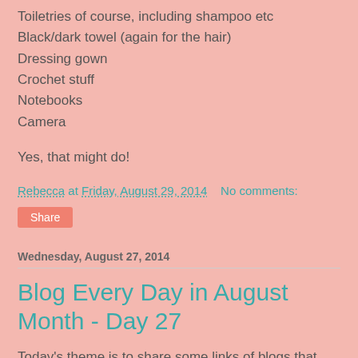Toiletries of course, including shampoo etc
Black/dark towel (again for the hair)
Dressing gown
Crochet stuff
Notebooks
Camera
Yes, that might do!
Rebecca at Friday, August 29, 2014   No comments:
Share
Wednesday, August 27, 2014
Blog Every Day in August Month - Day 27
Today's theme is to share some links of blogs that you love. Well I read LOADS of blogs, on lots of different themes, for lots of different passions of mine. But I'll share some of my favourite fashion and lifestyle blogs.